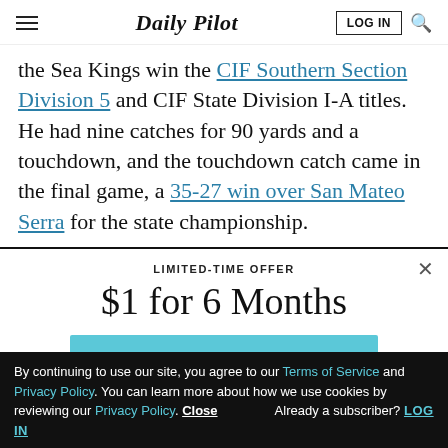Daily Pilot
the Sea Kings win the CIF Southern Section Division 5 and CIF State Division I-A titles. He had nine catches for 90 yards and a touchdown, and the touchdown catch came in the final game, a 35-27 win over San Mateo Serra for the state championship.
LIMITED-TIME OFFER
$1 for 6 Months
SUBSCRIBE NOW
By continuing to use our site, you agree to our Terms of Service and Privacy Policy. You can learn more about how we use cookies by reviewing our Privacy Policy. Close Already a subscriber? LOG IN